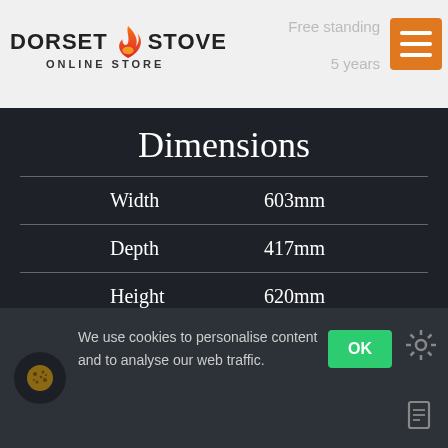DORSET STOVE ONLINE STORE | Type: Free standing | Warranty: 5 years
Dimensions
|  |  |
| --- | --- |
| Width | 603mm |
| Depth | 417mm |
| Height | 620mm |
| Weight | 120kg |
We use cookies to personalise content and to analyse our web traffic.